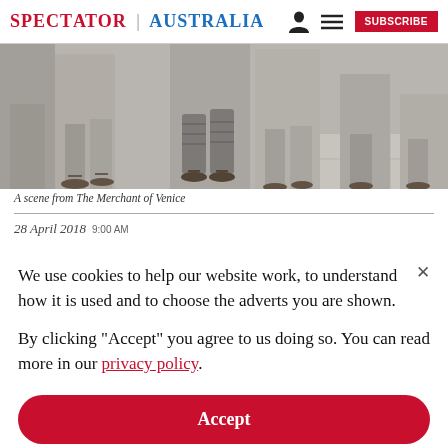SPECTATOR | AUSTRALIA  [user icon] [menu icon]  SUBSCRIBE
[Figure (illustration): A cropped grayscale illustration showing the lower bodies and feet of several robed and armored figures, from a scene from The Merchant of Venice. A tiled floor is visible.]
A scene from The Merchant of Venice
28 April 2018  9:00 AM
We use cookies to help our website work, to understand how it is used and to choose the adverts you are shown.

By clicking "Accept" you agree to us doing so. You can read more in our privacy policy.
Accept